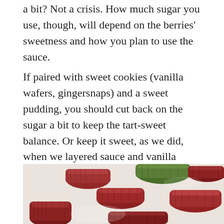a bit? Not a crisis. How much sugar you use, though, will depend on the berries' sweetness and how you plan to use the sauce.
If paired with sweet cookies (vanilla wafers, gingersnaps) and a sweet pudding, you should cut back on the sugar a bit to keep the tart-sweet balance. Or keep it sweet, as we did, when we layered sauce and vanilla wafers with some thick, plain Greek yogurt for a sweet, tangy, tart dessert.
[Figure (photo): Close-up photo of chopped rhubarb pieces on a white plate, showing red and green stalks cut into chunks]